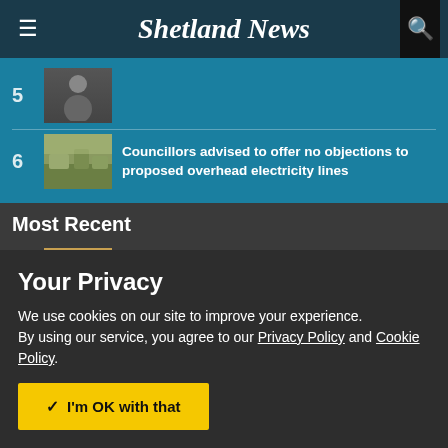Shetland News
6 Councillors advised to offer no objections to proposed overhead electricity lines
Most Recent
1 Local fuel poverty rate could skyrocket to 96%,
Your Privacy
We use cookies on our site to improve your experience.
By using our service, you agree to our Privacy Policy and Cookie Policy.
✓ I'm OK with that